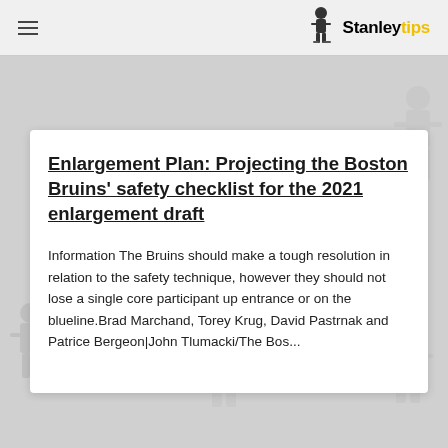Stanleytips
Enlargement Plan: Projecting the Boston Bruins' safety checklist for the 2021 enlargement draft
Information The Bruins should make a tough resolution in relation to the safety technique, however they should not lose a single core participant up entrance or on the blueline.Brad Marchand, Torey Krug, David Pastrnak and Patrice Bergeon|John Tlumacki/The Bos...